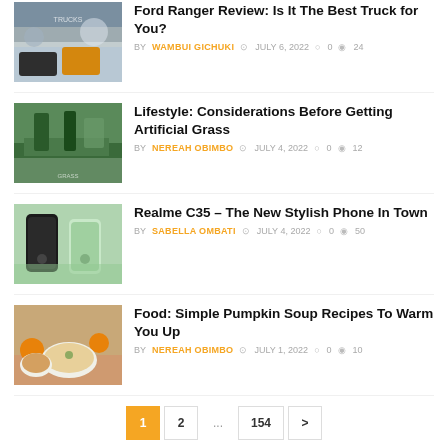Ford Ranger Review: Is It The Best Truck for You? BY WAMBUI GICHUKI JULY 6, 2022 0 24
Lifestyle: Considerations Before Getting Artificial Grass BY NEREAH OBIMBO JULY 4, 2022 0 12
Realme C35 – The New Stylish Phone In Town BY SABELLA OMBATI JULY 4, 2022 0 50
Food: Simple Pumpkin Soup Recipes To Warm You Up BY NEREAH OBIMBO JULY 1, 2022 0 10
1 2 ... 154 >
Recommended